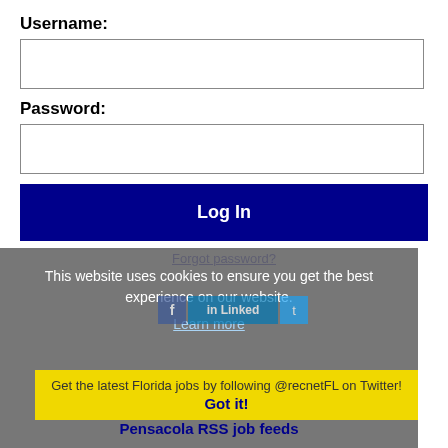Username:
Password:
Log In
Forgot password?
This website uses cookies to ensure you get the best experience on our website.
Learn more
Get the latest Florida jobs by following @recnetFL on Twitter!
Got it!
Pensacola RSS job feeds